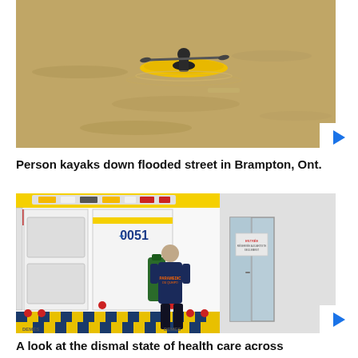[Figure (photo): Person paddling a yellow kayak down a flooded street in Brampton, Ontario — murky brown water fills the street, seen from above]
Person kayaks down flooded street in Brampton, Ont.
[Figure (photo): A paramedic in a dark blue uniform standing at the open rear doors of an ambulance marked 0051, loading or unloading equipment outside a hospital entrance]
A look at the dismal state of health care across